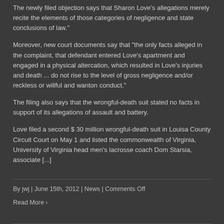The newly filed objection says that Sharon Love's allegations merely recite the elements of those categories of negligence and state conclusions of law."
Moreover, new court documents say that "the only facts alleged in the complaint, that defendant entered Love's apartment and engaged in a physical altercation, which resulted in Love's injuries and death ... do not rise to the level of gross negligence and/or reckless or willful and wanton conduct."
The filing also says that the wrongful-death suit stated no facts in support of its allegations of assault and battery.
Love filed a second $ 30 million wrongful-death suit in Louisa County Circuit Court on May 1 and listed the commonwealth of Virginia, University of Virginia head men's lacrosse coach Dom Starsia, associate [...]
By jwj | June 15th, 2012 | News | Comments Off
Read More ›